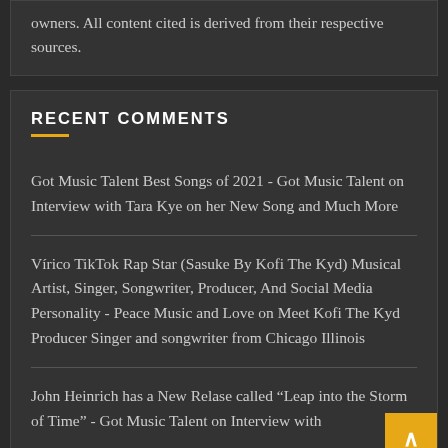owners. All content cited is derived from their respective sources.
RECENT COMMENTS
Got Music Talent Best Songs of 2021 - Got Music Talent on Interview with Tara Kye on her New Song and Much More
Vírico TikTok Rap Star (Sasuke By Kofi The Kyd) Musical Artist, Singer, Songwriter, Producer, And Social Media Personality - Peace Music and Love on Meet Kofi The Kyd Producer Singer and songwriter from Chicago Illinois
John Heinrich has a New Relase called “Leap into the Storm of Time” - Got Music Talent on Interview with